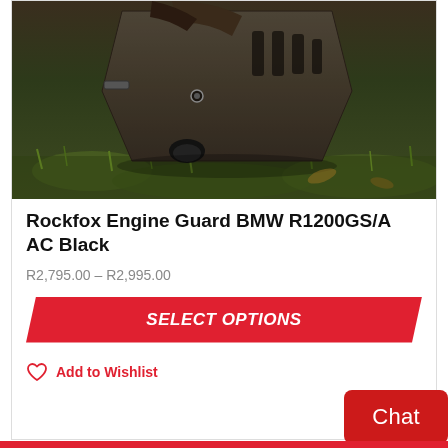[Figure (photo): Close-up photo of a black metal engine guard/skid plate mounted on a BMW motorcycle, with green grass visible in the background.]
Rockfox Engine Guard BMW R1200GS/A AC Black
R2,795.00 – R2,995.00
SELECT OPTIONS
Add to Wishlist
Chat